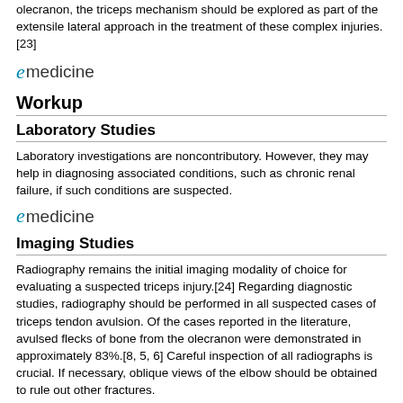olecranon, the triceps mechanism should be explored as part of the extensile lateral approach in the treatment of these complex injuries.[23]
[Figure (logo): eMedicine logo with stylized italic 'e' in teal and 'medicine' in dark text]
Workup
Laboratory Studies
Laboratory investigations are noncontributory. However, they may help in diagnosing associated conditions, such as chronic renal failure, if such conditions are suspected.
[Figure (logo): eMedicine logo with stylized italic 'e' in teal and 'medicine' in dark text]
Imaging Studies
Radiography remains the initial imaging modality of choice for evaluating a suspected triceps injury.[24] Regarding diagnostic studies, radiography should be performed in all suspected cases of triceps tendon avulsion. Of the cases reported in the literature, avulsed flecks of bone from the olecranon were demonstrated in approximately 83%.[8, 5, 6] Careful inspection of all radiographs is crucial. If necessary, oblique views of the elbow should be obtained to rule out other fractures.
Lateral radiographs of the elbow are particularly useful for diagnostic confirmation. In Tarsney's study of seven cases of triceps tendon avulsion, lateral radiographs demonstrated bone fragments behind the distal humerus